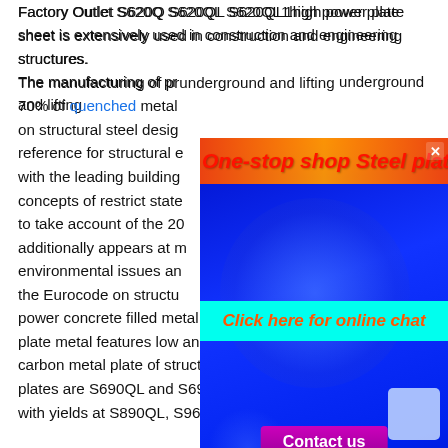Factory Outlet S620Q S620QL S620QL1 high power plate sheet is extensively used in construction and engineering structures.
The manufacturing of pr... underground and lifting... 70% of quenched metal... on structural steel desig... reference for structural e... with the leading building... concepts of restrict state... to take account of the 20... additionally appears at m... environmental issues an... the Eurocode on structu... power concrete filled metal tubular columns. ASTM A283 plate metal features low and intermediate tensile energy carbon metal plate of structural quality. The excessive yield plates are S690QL and S690QL1 to EN with further stocks with yields at S890QL, S960QL and S1100QL.
[Figure (infographic): Advertisement overlay with blue gradient background, orange banner reading 'One-stop shop Steel plate', cyan banner reading 'Click here for online chat', purple 'Contact us' button, and red email 'admin@gangsteel.com']